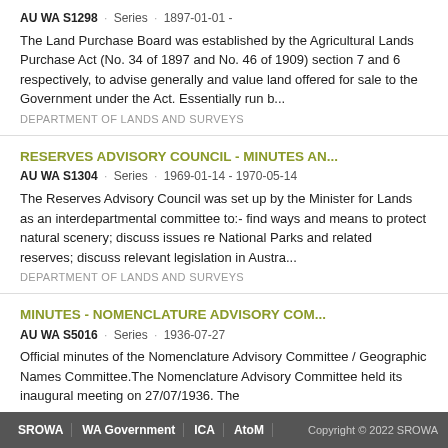AU WA S1298 · Series · 1897-01-01 -
The Land Purchase Board was established by the Agricultural Lands Purchase Act (No. 34 of 1897 and No. 46 of 1909) section 7 and 6 respectively, to advise generally and value land offered for sale to the Government under the Act. Essentially run b...
DEPARTMENT OF LANDS AND SURVEYS
RESERVES ADVISORY COUNCIL - MINUTES AN...
AU WA S1304 · Series · 1969-01-14 - 1970-05-14
The Reserves Advisory Council was set up by the Minister for Lands as an interdepartmental committee to:- find ways and means to protect natural scenery; discuss issues re National Parks and related reserves; discuss relevant legislation in Austra...
DEPARTMENT OF LANDS AND SURVEYS
MINUTES - NOMENCLATURE ADVISORY COM...
AU WA S5016 · Series · 1936-07-27
Official minutes of the Nomenclature Advisory Committee / Geographic Names Committee.The Nomenclature Advisory Committee held its inaugural meeting on 27/07/1936. The
SROWA | WA Government | ICA | AtoM | Copyright © 2022 SROWA